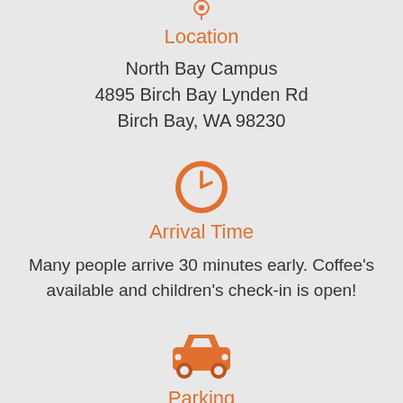[Figure (illustration): Orange location pin icon (partially cut off at top)]
Location
North Bay Campus
4895 Birch Bay Lynden Rd
Birch Bay, WA 98230
[Figure (illustration): Orange clock icon]
Arrival Time
Many people arrive 30 minutes early. Coffee's available and children's check-in is open!
[Figure (illustration): Orange car/parking icon]
Parking